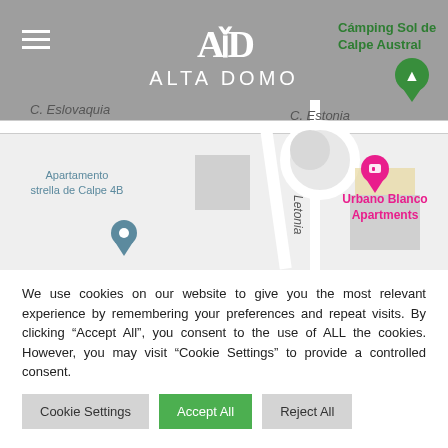[Figure (map): Street map showing Alta Domo location near C. Eslovaquia and C. Estonia streets, with a roundabout, Apartamento Estrella de Calpe 4B marker (blue pin), Urbano Blanco Apartments (pink pin), and Cámping Sol de Calpe Austral (green pin). Alta Domo logo overlay at top center with hamburger menu icon.]
We use cookies on our website to give you the most relevant experience by remembering your preferences and repeat visits. By clicking "Accept All", you consent to the use of ALL the cookies. However, you may visit "Cookie Settings" to provide a controlled consent.
Cookie Settings
Accept All
Reject All